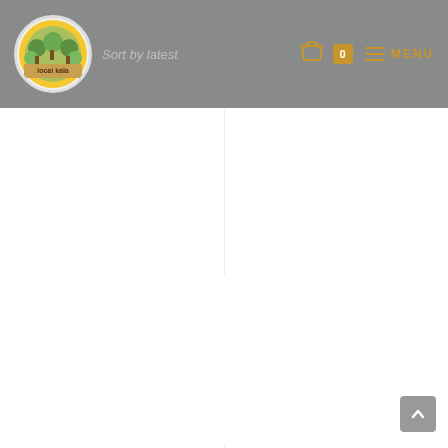Sort by latest | Cart 0 | MENU
[Figure (photo): Product image placeholder for Meow Chip 'n' Dip Platter (white/blank)]
Ceramics, Platters
Meow Chip 'n' Dip Platter
₹395.00
Add to cart
[Figure (photo): Product image placeholder for Mor Platter – Olive Green (white/blank)]
Ceramics, Platters
Mor Platter – Olive Green
₹575.00
Add to cart
[Figure (photo): Partial product image at bottom left, warm beige/brown tone, partially visible]